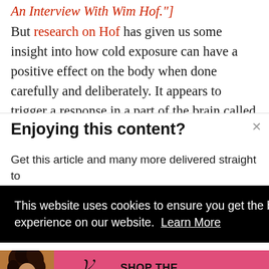An Interview With Wim Hof."] But research on Hof has given us some insight into how cold exposure can have a positive effect on the body when done carefully and deliberately. It appears to trigger a response in a part of the brain called the
Enjoying this content?
Get this article and many more delivered straight to
[Figure (screenshot): Cookie consent banner with black background reading: 'This website uses cookies to ensure you get the best experience on our website. Learn More']
[Figure (screenshot): Victoria's Secret advertisement banner with pink background, showing a woman with curly hair, VS logo, text 'SHOP THE COLLECTION' and 'SHOP NOW' button]